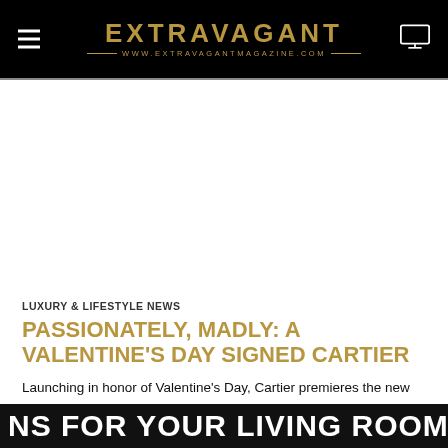EXTRAVAGANT — WWW.EXTRAVAGANTMAGAZINE.COM
LUXURY & LIFESTYLE NEWS
PASSIONATELY, MADLY: A VALENTINE'S DAY SIGNED CARTIER
Launching in honor of Valentine's Day, Cartier premieres the new film How far would you go for Love directed by Cédric Klapisch. The film invites you to experience...
NS FOR YOUR LIVING ROOM INT